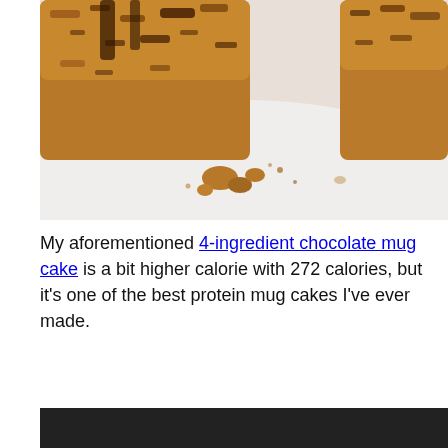[Figure (photo): Close-up photo of a chocolate mug cake broken apart on a white plate, showing golden-brown crumb texture with dark chocolate chunks visible inside.]
My aforementioned 4-ingredient chocolate mug cake is a bit higher calorie with 272 calories, but it’s one of the best protein mug cakes I’ve ever made.
[Figure (photo): Partial view of another mug cake photo at the bottom of the page.]